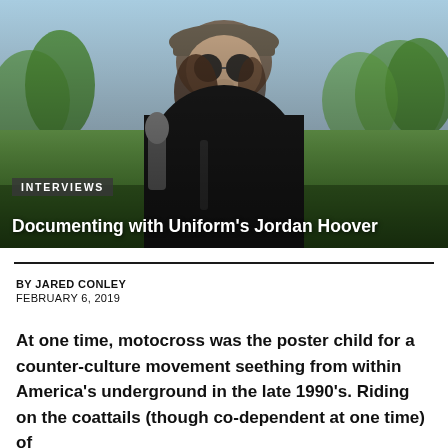[Figure (photo): A young man with curly hair, wearing a flat cap and round sunglasses and a dark t-shirt, standing outdoors on a golf course or park with green grass and trees in the background. He appears to be speaking into a microphone.]
INTERVIEWS
Documenting with Uniform's Jordan Hoover
BY JARED CONLEY
FEBRUARY 6, 2019
At one time, motocross was the poster child for a counter-culture movement seething from within America's underground in the late 1990's. Riding on the coattails (though co-dependent at one time) of